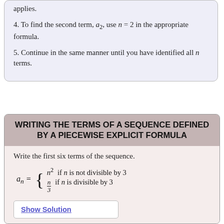3. Identify the formula to which n = 1 applies.
4. To find the second term, a2, use n = 2 in the appropriate formula.
5. Continue in the same manner until you have identified all n terms.
WRITING THE TERMS OF A SEQUENCE DEFINED BY A PIECEWISE EXPLICIT FORMULA
Write the first six terms of the sequence.
Show Solution